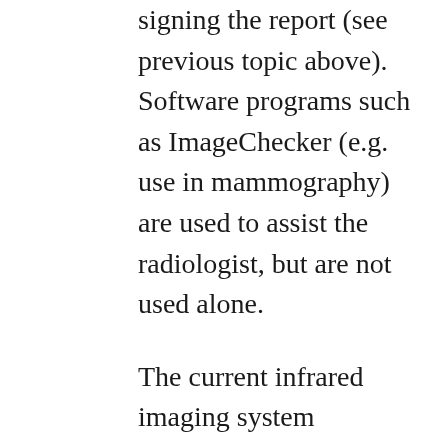signing the report (see previous topic above). Software programs such as ImageChecker (e.g. use in mammography) are used to assist the radiologist, but are not used alone.
The current infrared imaging system standards and interpretation guidelines have been established for over 34 years. These equipment and interpretation standards and guidelines have been continually monitored and updated by experts in this field through major associations worldwide. We are currently using the state-of-the-art in infrared